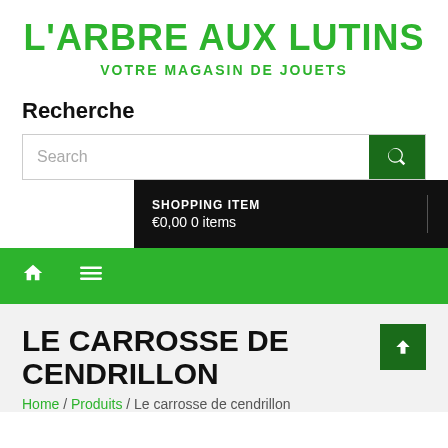L'ARBRE AUX LUTINS
VOTRE MAGASIN DE JOUETS
Recherche
[Figure (screenshot): Search bar with text input field and dark green search button with magnifying glass icon]
[Figure (screenshot): Black shopping cart bar showing SHOPPING ITEM, €0,00 0 items, divider line, and shopping bag icon]
[Figure (screenshot): Green navigation bar with white home icon and hamburger menu icon]
LE CARROSSE DE CENDRILLON
Home / Produits / Le carrosse de cendrillon